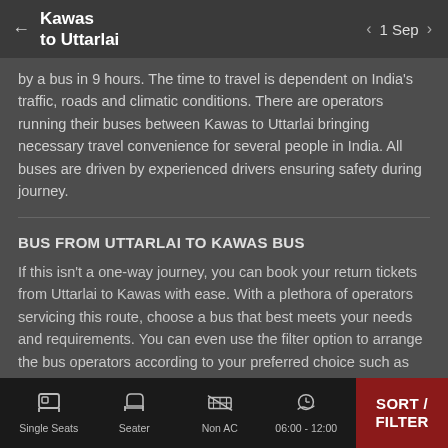Kawas to Uttarlai | 1 Sep
by a bus in 9 hours. The time to travel is dependent on India's traffic, roads and climatic conditions. There are operators running their buses between Kawas to Uttarlai bringing necessary travel convenience for several people in India. All buses are driven by experienced drivers ensuring safety during journey.
BUS FROM UTTARLAI TO KAWAS BUS
If this isn't a one-way journey, you can book your return tickets from Uttarlai to Kawas with ease. With a plethora of operators servicing this route, choose a bus that best meets your needs and requirements. You can even use the filter option to arrange the bus operators according to your preferred choice such as duration of travel, fare,
Single Seats | Seater | Non AC | 06:00 - 12:00 | SORT / FILTER